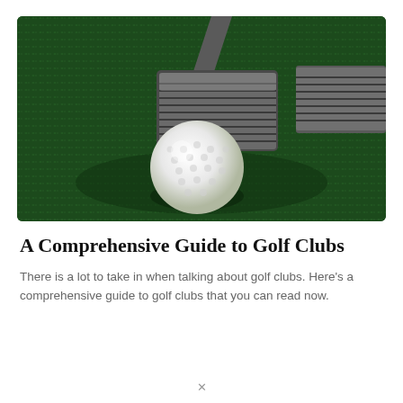[Figure (photo): Close-up photograph of a golf iron club head (metallic, with ridged face) resting on artificial green turf, with a white golf ball in the foreground.]
A Comprehensive Guide to Golf Clubs
There is a lot to take in when talking about golf clubs. Here's a comprehensive guide to golf clubs that you can read now.